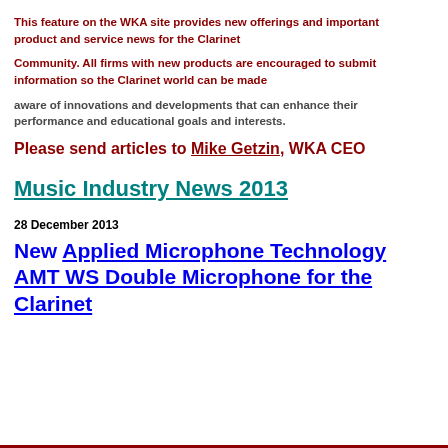This feature on the WKA site provides new offerings and important product and service news for the Clarinet
Community. All firms with new products are encouraged to submit information so the Clarinet world can be made
aware of innovations and developments that can enhance their performance and educational goals and interests.
Please send articles to Mike Getzin, WKA CEO
Music Industry News 2013
28 December 2013
New Applied Microphone Technology AMT WS Double Microphone for the Clarinet